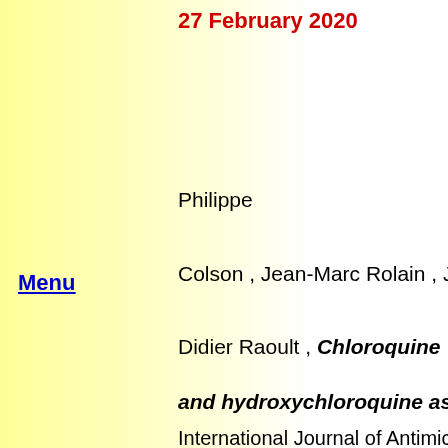27 February 2020
Philippe
Menu
Colson , Jean-Marc Rolain , Jean-Christophe Lagier
Didier Raoult , Chloroquine
and hydroxychloroquine as available weapons to
International Journal of Antimicrobial Agents  Feb (2
https://doi.org/10.1016/j.ijantimicag.2020.105932